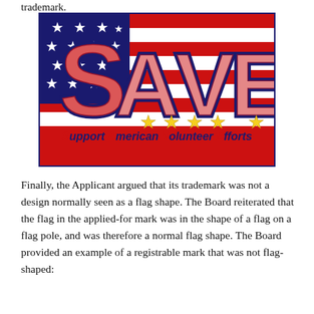trademark.
[Figure (logo): SAVE - Support American Volunteer Efforts logo with American flag background, large red white and blue letters S, A, V, E with gold stars and italic text 'Support American Volunteer Efforts']
Finally, the Applicant argued that its trademark was not a design normally seen as a flag shape. The Board reiterated that the flag in the applied-for mark was in the shape of a flag on a flag pole, and was therefore a normal flag shape. The Board provided an example of a registrable mark that was not flag- shaped: